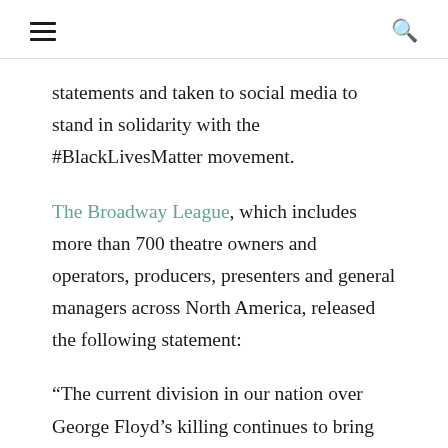≡  🔍
statements and taken to social media to stand in solidarity with the #BlackLivesMatter movement.
The Broadway League, which includes more than 700 theatre owners and operators, producers, presenters and general managers across North America, released the following statement:
“The current division in our nation over George Floyd’s killing continues to bring heartbreak, outrage and calls to action by members of the Broadway community to combat injustice towards people of color,